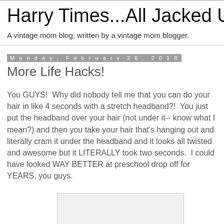Harry Times...All Jacked Up
A vintage mom blog, written by a vintage mom blogger.
Monday, February 26, 2018
More Life Hacks!
You GUYS!  Why did nobody tell me that you can do your hair in like 4 seconds with a stretch headband?!  You just put the headband over your hair (not under it-- know what I mean?) and then you take your hair that's hanging out and literally cram it under the headband and it looks all twisted and awesome but it LITERALLY took two seconds.  I could have looked WAY BETTER at preschool drop off for YEARS, you guys.
[Figure (photo): Image placeholder at bottom of post]